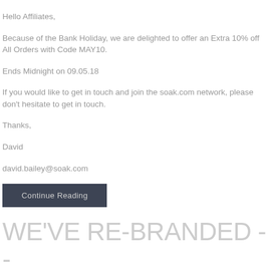Hello Affiliates,
Because of the Bank Holiday, we are delighted to offer an Extra 10% off All Orders with Code MAY10.
Ends Midnight on 09.05.18
If you would like to get in touch and join the soak.com network, please don't hesitate to get in touch.
Thanks,
David
david.bailey@soak.com
Continue Reading
WE'VE RE-BRANDED -- FROM THE PUG HOUSE